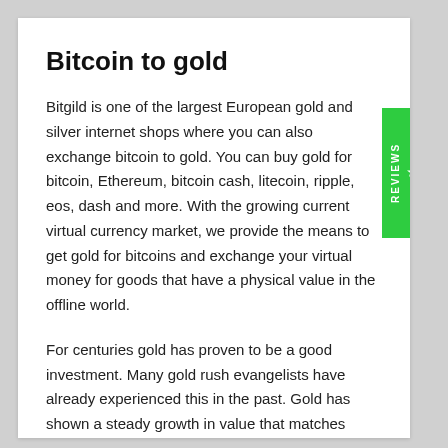Bitcoin to gold
Bitgild is one of the largest European gold and silver internet shops where you can also exchange bitcoin to gold. You can buy gold for bitcoin, Ethereum, bitcoin cash, litecoin, ripple, eos, dash and more. With the growing current virtual currency market, we provide the means to get gold for bitcoins and exchange your virtual money for goods that have a physical value in the offline world.
For centuries gold has proven to be a good investment. Many gold rush evangelists have already experienced this in the past. Gold has shown a steady growth in value that matches economical inflation and both gold and silver are much less vulnerable to price fluctuations. Therefore, if you wish to...